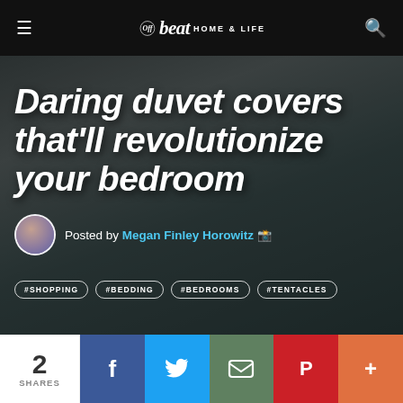Offbeat HOME & LIFE
[Figure (photo): Hero image showing duvet cover with octopus/tentacle pattern on teal background, overlaid with semi-transparent dark layer]
Daring duvet covers that'll revolutionize your bedroom
Posted by Megan Finley Horowitz
#SHOPPING
#BEDDING
#BEDROOMS
#TENTACLES
2 SHARES